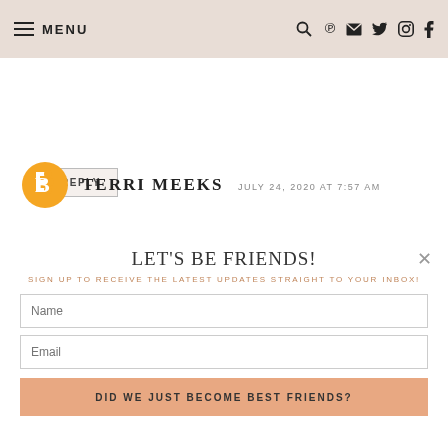MENU
REPLY
TERRI MEEKS  JULY 24, 2020 AT 7:57 AM
LET'S BE FRIENDS!
SIGN UP TO RECEIVE THE LATEST UPDATES STRAIGHT TO YOUR INBOX!
Name
Email
DID WE JUST BECOME BEST FRIENDS?